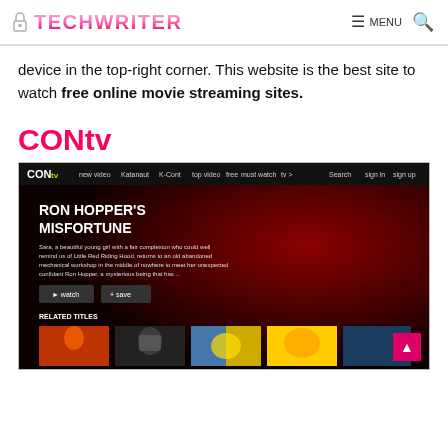TECHWRITER — MENU (hamburger icon) and search icon
device in the top-right corner. This website is the best site to watch free online movie streaming sites.
CONtv
[Figure (screenshot): Screenshot of CONtv website showing navigation bar with links (new video, Katanaut, K-Cont, top video, free, must watch, tv), a hero section featuring 'RON HOPPER'S MISFORTUNE' with description text, watch and save buttons, and RELATED TITLES section with movie thumbnails below.]